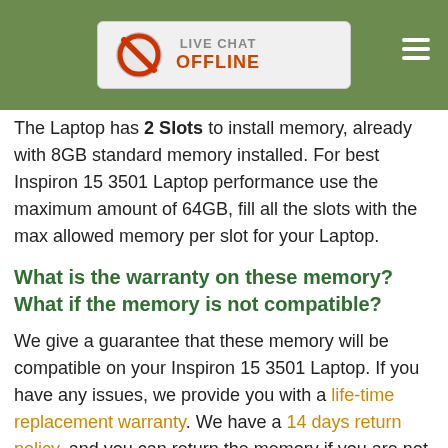[Figure (screenshot): Green header bar with Live Chat OFFLINE button and hamburger menu icon]
The Laptop has 2 Slots to install memory, already with 8GB standard memory installed. For best Inspiron 15 3501 Laptop performance use the maximum amount of 64GB, fill all the slots with the max allowed memory per slot for your Laptop.
What is the warranty on these memory? What if the memory is not compatible?
We give a guarantee that these memory will be compatible on your Inspiron 15 3501 Laptop. If you have any issues, we provide you with a life-time replacement warranty. We have a 14 days return policy, and you can return the memory if you are not satisfied.
Do you have these memory in stock? What shipping options do you provide?
All memory listed here are in stock. We ship your memory the same day we receive your order. We ship via FedEx and USPS. We have fast